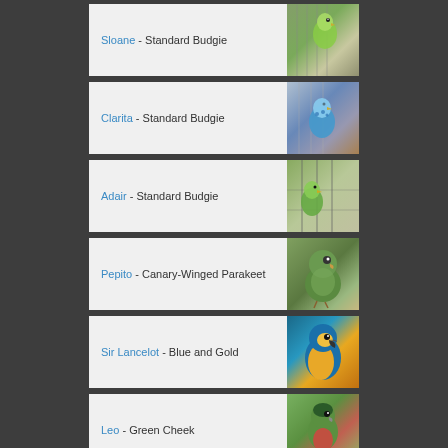Sloane - Standard Budgie
Clarita - Standard Budgie
Adair - Standard Budgie
Pepito - Canary-Winged Parakeet
Sir Lancelot - Blue and Gold
Leo - Green Cheek